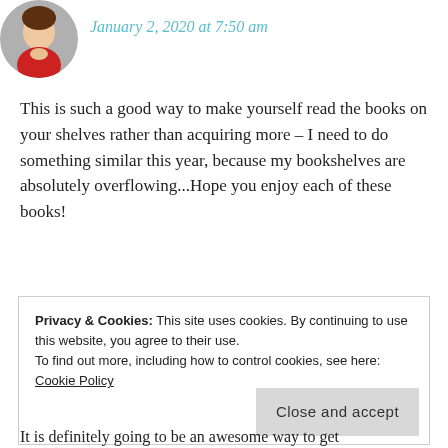[Figure (photo): Circular avatar photo of a woman]
January 2, 2020 at 7:50 am
This is such a good way to make yourself read the books on your shelves rather than acquiring more – I need to do something similar this year, because my bookshelves are absolutely overflowing...Hope you enjoy each of these books!
★ Liked by 1 person
REPLY
Privacy & Cookies: This site uses cookies. By continuing to use this website, you agree to their use.
To find out more, including how to control cookies, see here: Cookie Policy
Close and accept
It is definitely going to be an awesome way to get